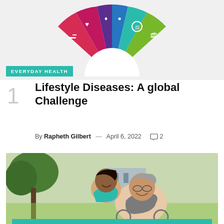[Figure (infographic): Colorful semi-circular wheel infographic with icons representing lifestyle/health categories (red minus, teal icon, green scale, purple head/brain, blue water drop) on a light grey background]
EVERYDAY HEALTH
Lifestyle Diseases: A global Challenge
By Rapheth Gilbert — April 6, 2022  ○ 2
[Figure (photo): Outdoor photo of a smiling older Black man in a wheelchair wearing a grey long-sleeve shirt with glasses, being pushed by a smiling younger Black woman in a teal top, trees and buildings in background]